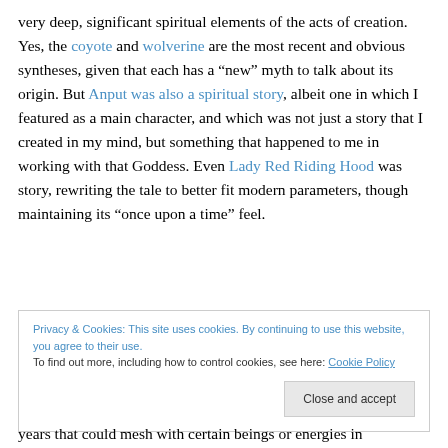very deep, significant spiritual elements of the acts of creation. Yes, the coyote and wolverine are the most recent and obvious syntheses, given that each has a “new” myth to talk about its origin. But Anput was also a spiritual story, albeit one in which I featured as a main character, and which was not just a story that I created in my mind, but something that happened to me in working with that Goddess. Even Lady Red Riding Hood was story, rewriting the tale to better fit modern parameters, though maintaining its “once upon a time” feel.
Privacy & Cookies: This site uses cookies. By continuing to use this website, you agree to their use. To find out more, including how to control cookies, see here: Cookie Policy
years that could mesh with certain beings or energies in